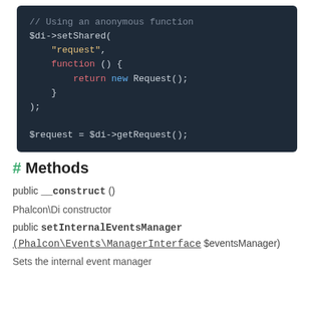[Figure (screenshot): Code block on dark background showing PHP code: // Using an anonymous function, $di->setShared( 'request', function () { return new Request(); } ); $request = $di->getRequest();]
# Methods
public __construct ()
Phalcon\Di constructor
public setInternalEventsManager (Phalcon\Events\ManagerInterface $eventsManager)
Sets the internal event manager